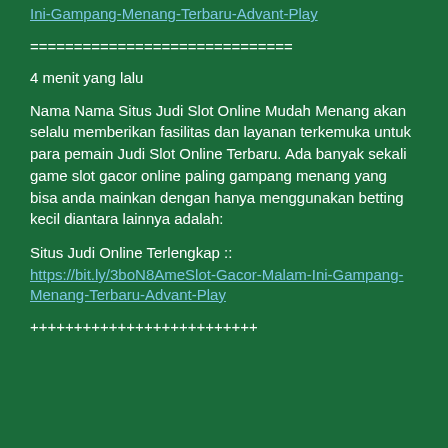Ini-Gampang-Menang-Terbaru-Advant-Play (link)
==============================
4 menit yang lalu
Nama Nama Situs Judi Slot Online Mudah Menang akan selalu memberikan fasilitas dan layanan terkemuka untuk para pemain Judi Slot Online Terbaru. Ada banyak sekali game slot gacor online paling gampang menang yang bisa anda mainkan dengan hanya menggunakan betting kecil diantara lainnya adalah:
Situs Judi Online Terlengkap ::
https://bit.ly/3boN8AmeSlot-Gacor-Malam-Ini-Gampang-Menang-Terbaru-Advant-Play
++++++++++++++++++++++++++